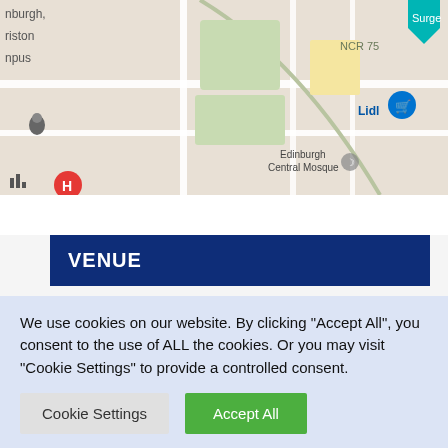[Figure (map): Google Maps screenshot showing Edinburgh area with landmarks: NCR 75 route, Edinburgh Central Mosque, Lidl store, hospital marker (H), and other map features]
VENUE
Augustine United Church
41 George IV Bridge
Edinburgh,  EH1 1EL
We use cookies on our website. By clicking "Accept All", you consent to the use of ALL the cookies. Or you may visit "Cookie Settings" to provide a controlled consent.